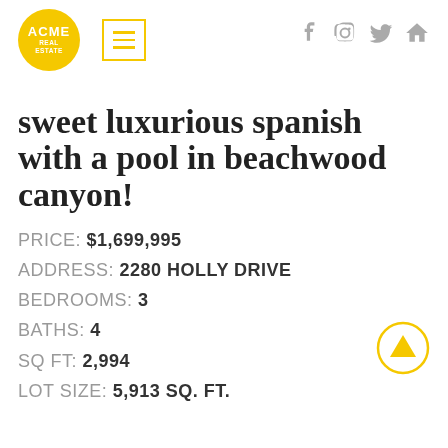ACME REAL ESTATE — menu icon — social icons (Facebook, Instagram, Twitter, Home)
sweet luxurious spanish with a pool in beachwood canyon!
PRICE: $1,699,995
ADDRESS: 2280 HOLLY DRIVE
BEDROOMS: 3
BATHS: 4
SQ FT: 2,994
LOT SIZE: 5,913 SQ. FT.